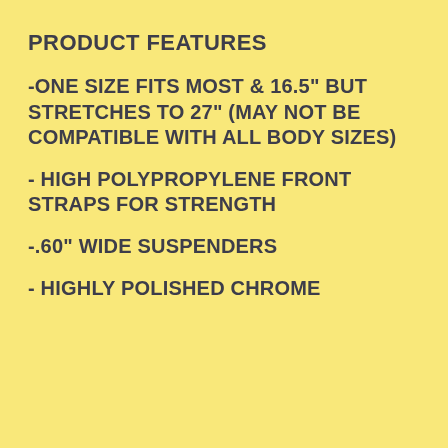PRODUCT FEATURES
-ONE SIZE FITS MOST & 16.5" BUT STRETCHES TO 27" (MAY NOT BE COMPATIBLE WITH ALL BODY SIZES)
- HIGH POLYPROPYLENE FRONT STRAPS FOR STRENGTH
-.60" WIDE SUSPENDERS
- HIGHLY POLISHED CHROME